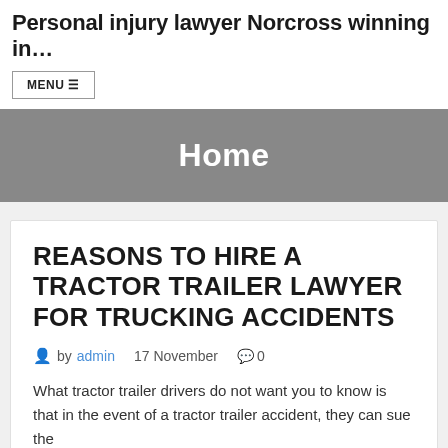Personal injury lawyer Norcross winning in…
MENU ☰
Home
REASONS TO HIRE A TRACTOR TRAILER LAWYER FOR TRUCKING ACCIDENTS
by admin   17 November   💬 0
What tractor trailer drivers do not want you to know is that in the event of a tractor trailer accident, they can sue the